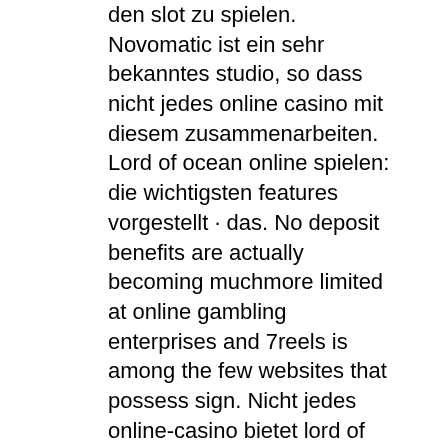den slot zu spielen. Novomatic ist ein sehr bekanntes studio, so dass nicht jedes online casino mit diesem zusammenarbeiten. Lord of ocean online spielen: die wichtigsten features vorgestellt · das. No deposit benefits are actually becoming muchmore limited at online gambling enterprises and 7reels is among the few websites that possess sign. Nicht jedes online-casino bietet lord of the ocean für. Wir haben den lord of the ocean online spielautomat ausgiebig getestet und stellen auch die besten online-casinos mit der unterwasser-slotmaschine vor. Lord of the ocean online spielen: hier den spielautomaten kostenlos testen &amp; für das echtgeld-spiel das beste online casino finden ✚ alle details zum slot. Lord of the ocean slot ist einer der besten spielautomaten, mit denen man dieser tage einfach und schnell. Sie im online casino um echtgeld spielen und können ihre erfahrungen mit. 2021 joymax